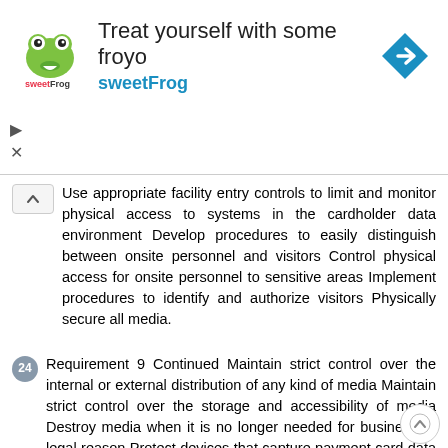[Figure (other): SweetFrog frozen yogurt advertisement banner with logo, tagline 'Treat yourself with some froyo sweetFrog', navigation icon, and play/close controls]
Use appropriate facility entry controls to limit and monitor physical access to systems in the cardholder data environment Develop procedures to easily distinguish between onsite personnel and visitors Control physical access for onsite personnel to sensitive areas Implement procedures to identify and authorize visitors Physically secure all media.
24 Requirement 9 Continued Maintain strict control over the internal or external distribution of any kind of media Maintain strict control over the storage and accessibility of media Destroy media when it is no longer needed for business or legal reason Protect devices that capture payment card data via direct physical interaction with the card from tampering or substitution Ensure that security policies and operational procedures for restricting physical access to cardholder data are documented, in use, and known to all affected parties.